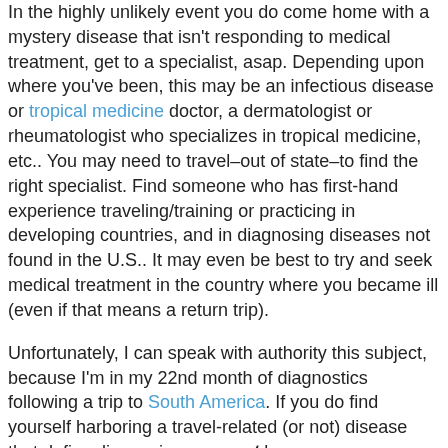In the highly unlikely event you do come home with a mystery disease that isn't responding to medical treatment, get to a specialist, asap. Depending upon where you've been, this may be an infectious disease or tropical medicine doctor, a dermatologist or rheumatologist who specializes in tropical medicine, etc.. You may need to travel–out of state–to find the right specialist. Find someone who has first-hand experience traveling/training or practicing in developing countries, and in diagnosing diseases not found in the U.S.. It may even be best to try and seek medical treatment in the country where you became ill (even if that means a return trip).

Unfortunately, I can speak with authority this subject, because I'm in my 22nd month of diagnostics following a trip to South America. If you do find yourself harboring a travel-related (or not) disease that defies diagnosis, you must be your own advocate. No one is more invested in your health than you are, and doctors are human. They may make mistakes, despite their best intentions. Seek not just a second, but a third opinion from at least two different medical facilities...